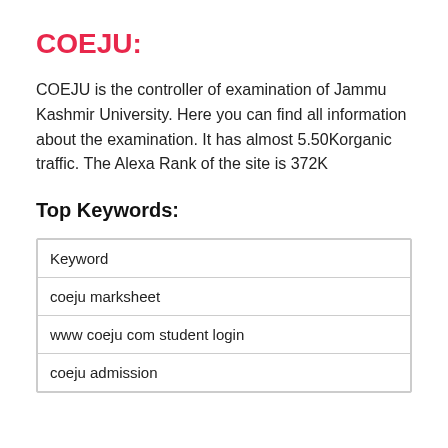COEJU:
COEJU is the controller of examination of Jammu Kashmir University. Here you can find all information about the examination. It has almost 5.50Korganic traffic. The Alexa Rank of the site is 372K
Top Keywords:
| Keyword |
| --- |
| coeju marksheet |
| www coeju com student login |
| coeju admission |